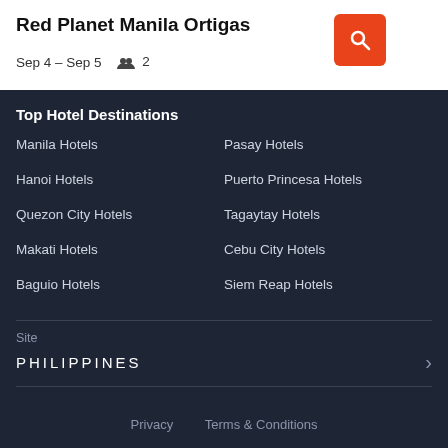Red Planet Manila Ortigas
Sep 4 – Sep 5   2
Top Hotel Destinations
Manila Hotels
Pasay Hotels
Hanoi Hotels
Puerto Princesa Hotels
Quezon City Hotels
Tagaytay Hotels
Makati Hotels
Cebu City Hotels
Baguio Hotels
Siem Reap Hotels
Site
PHILIPPINES
Privacy   Terms & Conditions